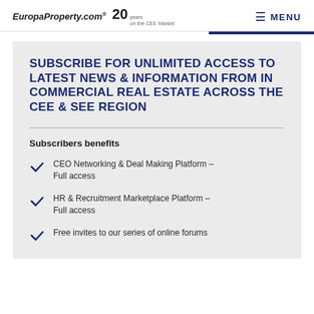EuropaProperty.com® 20 years on the CEE Market  MENU
SUBSCRIBE FOR UNLIMITED ACCESS TO LATEST NEWS & INFORMATION FROM IN COMMERCIAL REAL ESTATE ACROSS THE CEE & SEE REGION
Subscribers benefits
CEO Networking & Deal Making Platform – Full access
HR & Recruitment Marketplace Platform – Full access
Free invites to our series of online forums